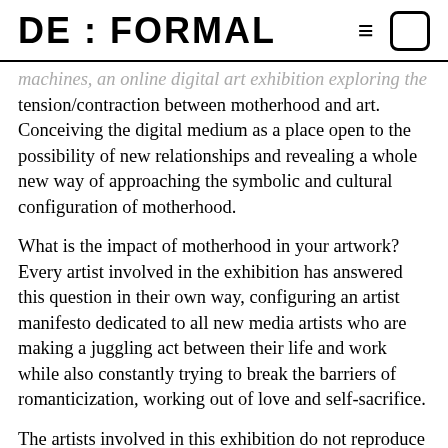DE : FORMAL
machines, an online digital art exhibition exploring the tension/contraction between motherhood and art. Conceiving the digital medium as a place open to the possibility of new relationships and revealing a whole new way of approaching the symbolic and cultural configuration of motherhood.
What is the impact of motherhood in your artwork? Every artist involved in the exhibition has answered this question in their own way, configuring an artist manifesto dedicated to all new media artists who are making a juggling act between their life and work while also constantly trying to break the barriers of romanticization, working out of love and self-sacrifice.
The artists involved in this exhibition do not reproduce the discourses and practices in which motherhood has been traditionally identified for centuries, but have